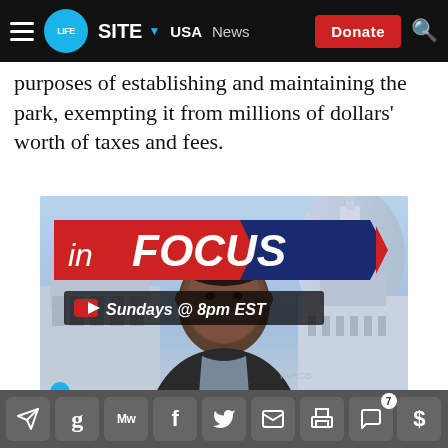LIFESITE · USA · News · Donate
purposes of establishing and maintaining the park, exempting it from millions of dollars' worth of taxes and fees.
[Figure (advertisement): LifeSite 'In Focus' show advertisement. Shows a man in front of St. Peter's Basilica. Text reads 'in FOCUS - Sundays @ 8pm EST' with YouTube logo and LifeSite branding.]
Social share icons: Telegram, Gettr, MeWe, Facebook, Twitter, Email, Print, Comments (7), Donate